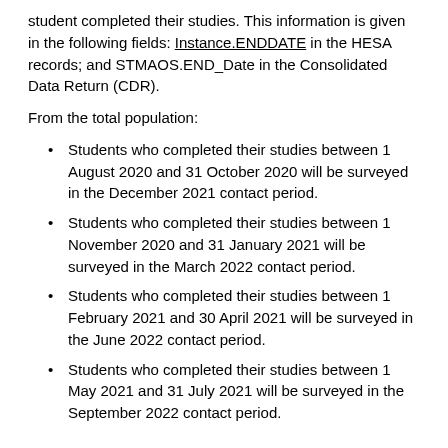student completed their studies. This information is given in the following fields: Instance.ENDDATE in the HESA records; and STMAOS.END_Date in the Consolidated Data Return (CDR).
From the total population:
Students who completed their studies between 1 August 2020 and 31 October 2020 will be surveyed in the December 2021 contact period.
Students who completed their studies between 1 November 2020 and 31 January 2021 will be surveyed in the March 2022 contact period.
Students who completed their studies between 1 February 2021 and 30 April 2021 will be surveyed in the June 2022 contact period.
Students who completed their studies between 1 May 2021 and 31 July 2021 will be surveyed in the September 2022 contact period.